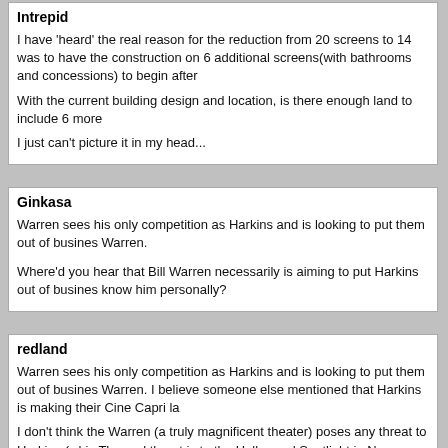Intrepid
I have 'heard' the real reason for the reduction from 20 screens to 14 was to have the construction on 6 additional screens(with bathrooms and concessions) to begin after

With the current building design and location, is there enough land to include 6 more

I just can't picture it in my head...
Ginkasa
Warren sees his only competition as Harkins and is looking to put them out of business Warren.

Where'd you hear that Bill Warren necessarily is aiming to put Harkins out of business know him personally?
redland
Warren sees his only competition as Harkins and is looking to put them out of business Warren. I believe someone else mentioned that Harkins is making their Cine Capri la

I don't think the Warren (a truly magnificent theater) poses any threat to Harkins (whic The real threat is to the Hollywood Spotlight in Norman and AMC Crossroads 16 in sc for long. As a case in point, the parking lot at the Spotlight has in the past been virtua lot!!!!!! I have to say that the Spotlight is getting only what it deserves; it may well be t
Bobby H
I have 'heard' the real reason for the reduction from 20 screens to 14 was to have the

Those rumors don't make any sense. The Moore Warren theater has gone through so ahead of the summer movie season or the holiday season at the end of the year any